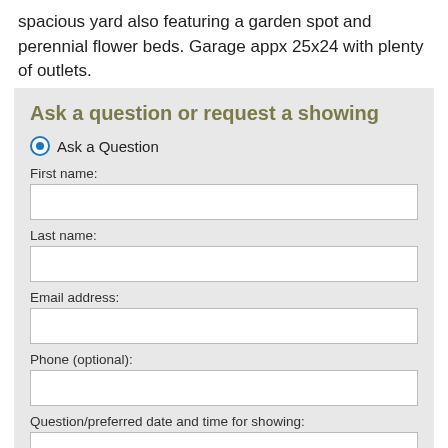spacious yard also featuring a garden spot and perennial flower beds. Garage appx 25x24 with plenty of outlets.
Ask a question or request a showing
Ask a Question
First name:
Last name:
Email address:
Phone (optional):
Question/preferred date and time for showing: